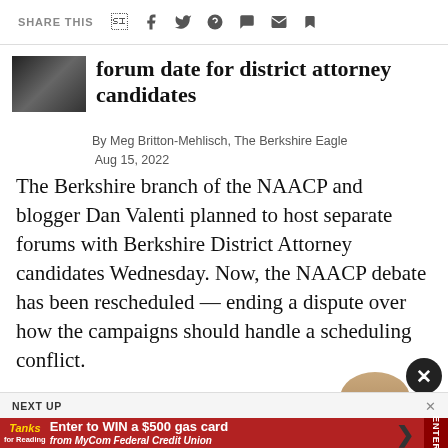SHARE THIS
forum date for district attorney candidates
By Meg Britton-Mehlisch, The Berkshire Eagle Aug 15, 2022
The Berkshire branch of the NAACP and blogger Dan Valenti planned to host separate forums with Berkshire District Attorney candidates Wednesday. Now, the NAACP debate has been rescheduled — ending a dispute over how the campaigns should handle a scheduling conflict.
[Figure (photo): Headshot of article subject, cropped at bottom of page]
NEXT UP
Tanks for Reading — Enter to WIN a $500 gas card from MyCom Federal Credit Union